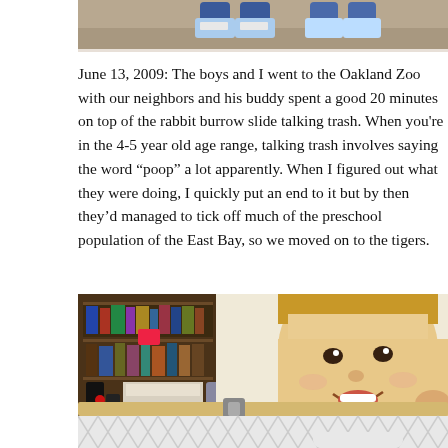[Figure (photo): Top portion of a photo showing children's feet/shoes on a sandy or gravelly surface, cropped at the top of the page.]
June 13, 2009: The boys and I went to the Oakland Zoo with our neighbors and his buddy spent a good 20 minutes on top of the rabbit burrow slide talking trash. When you're in the 4-5 year old age range, talking trash involves saying the word "poop" a lot apparently. When I figured out what they were doing, I quickly put an end to it but by then they'd managed to tick off much of the preschool population of the East Bay, so we moved on to the tigers.
[Figure (photo): A smiling toddler with blonde hair peering over a wooden baby gate with white lattice pattern. Bookshelves visible in the background.]